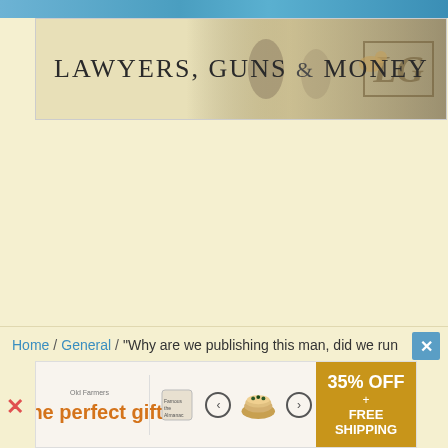[Figure (logo): Lawyers, Guns & Money website banner/logo with text and decorative imagery including a bird and a monogram LG]
Home / General / “Why are we publishing this man, did we run
[Figure (other): Advertisement banner: 'The perfect gift' with food bowl image, navigation arrows, and '35% OFF + FREE SHIPPING' promo in gold]